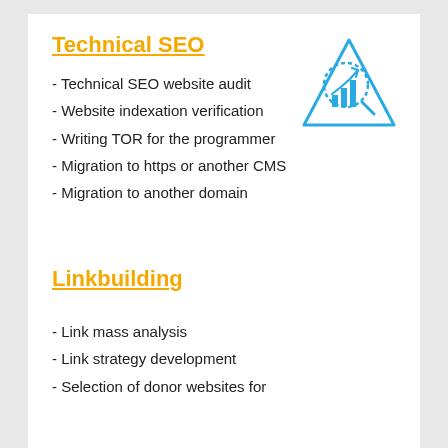Technical SEO
[Figure (illustration): Triangle icon with a magnifying glass showing a bar chart with upward arrow, drawn in light blue outline style]
- Technical SEO website audit
- Website indexation verification
- Writing TOR for the programmer
- Migration to https or another CMS
- Migration to another domain
Linkbuilding
- Link mass analysis
- Link strategy development
- Selection of donor websites for...